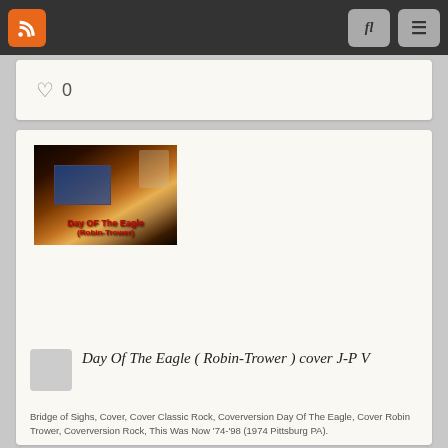[Figure (screenshot): Website top navigation bar with orange RSS button on left, and two grey buttons (search and menu) on right, on dark background]
0
[Figure (photo): Video thumbnail showing a dark room scene with text overlay reading 'Day Of The Eagle (Robin-Trower)' in red text]
Day Of The Eagle ( Robin-Trower ) cover J-P V
Bridge of Sighs, Cover, Cover Classic Rock, Coverversion Day Of The Eagle, Cover Robin Trower, Coverversion Rock, This Was Now '74-'98 (1974 Pittsburg PA).